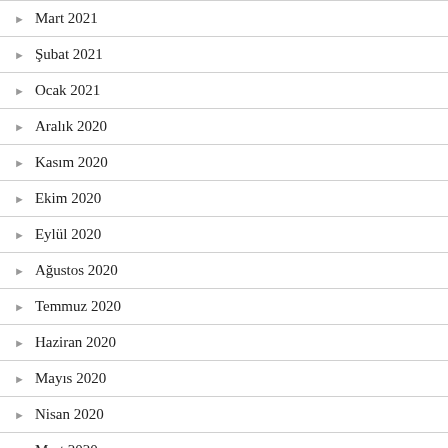Mart 2021
Şubat 2021
Ocak 2021
Aralık 2020
Kasım 2020
Ekim 2020
Eylül 2020
Ağustos 2020
Temmuz 2020
Haziran 2020
Mayıs 2020
Nisan 2020
Mart 2020